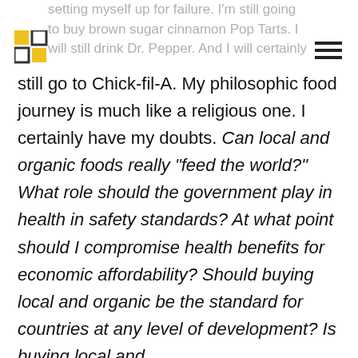setting myself up for failure. I'm still going to buy brown sugar cinnamon Pop Tarts. I will still drink Dr. Pepper. And I will certainly
still go to Chick-fil-A. My philosophic food journey is much like a religious one. I certainly have my doubts. Can local and organic foods really “feed the world?” What role should the government play in health in safety standards? At what point should I compromise health benefits for economic affordability? Should buying local and organic be the standard for countries at any level of development? Is buying local and